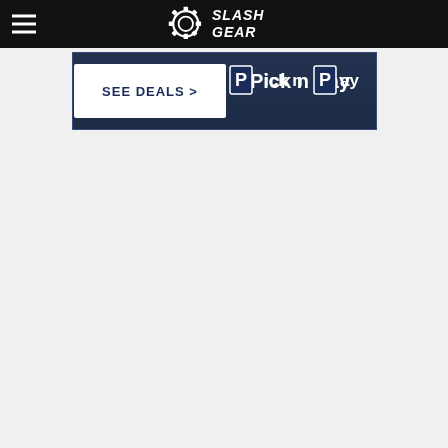SlashGear
[Figure (screenshot): SlashGear website header with hamburger menu icon on the left and SlashGear gear logo in the center on a black background bar]
[Figure (other): Pick n Pay advertisement banner with 'SEE DEALS >' button on a dark textured background]